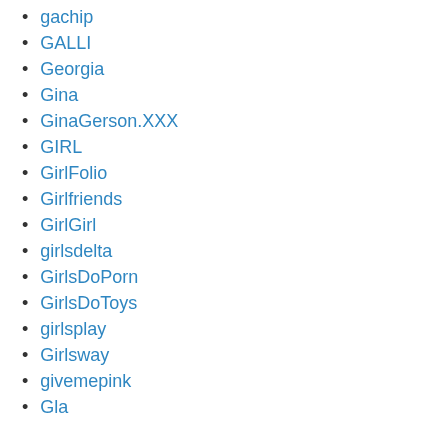gachip
GALLI
Georgia
Gina
GinaGerson.XXX
GIRL
GirlFolio
Girlfriends
GirlGirl
girlsdelta
GirlsDoPorn
GirlsDoToys
girlsplay
Girlsway
givemepink
Gla